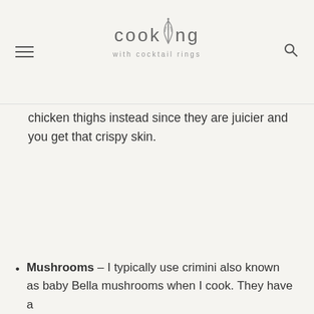cooking with cocktail rings
chicken thighs instead since they are juicier and you get that crispy skin.
Mushrooms – I typically use crimini also known as baby Bella mushrooms when I cook. They have a meatier, earthier mushroom flavor compared to